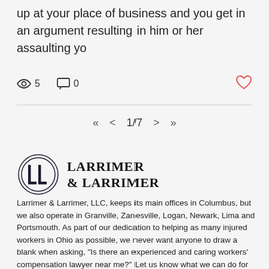up at your place of business and you get in an argument resulting in him or her assaulting yo
5   0
« < 1/7 > »
[Figure (logo): Larrimer & Larrimer LLC logo: circular emblem with 'LL' monogram and firm name in serif bold text]
Larrimer & Larrimer, LLC, keeps its main offices in Columbus, but we also operate in Granville, Zanesville, Logan, Newark, Lima and Portsmouth. As part of our dedication to helping as many injured workers in Ohio as possible, we never want anyone to draw a blank when asking, "Is there an experienced and caring workers' compensation lawyer near me?" Let us know what we can do for you by requesting a free consultation today.